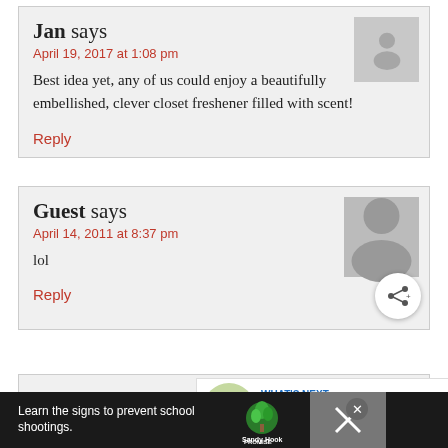Jan says
April 19, 2017 at 1:08 pm
Best idea yet, any of us could enjoy a beautifully embellished, clever closet freshener filled with scent!
Reply
Guest says
April 14, 2011 at 8:37 pm
lol
Reply
Guest says
April 8, 2011 at 1:11 pm
WHAT'S NEXT → Basic Adults Knitted Beanie
Learn the signs to prevent school shootings. Sandy Hook Promise